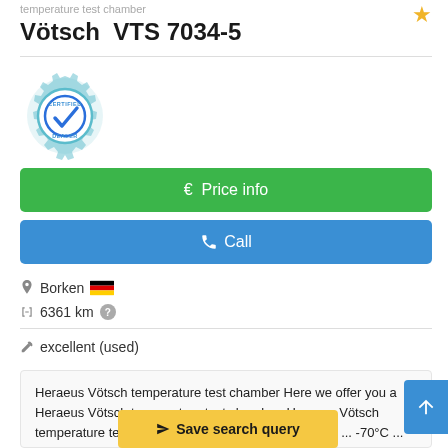temperature test chamber
Vötsch  VTS 7034-5
[Figure (logo): Certified Dealer badge — teal gear icon with blue checkmark and text CERTIFIED DEALER]
€  Price info
✆  Call
Borken  🇩🇪
🚩 6361 km  ?
🔧 excellent (used)
Heraeus Vötsch temperature test chamber Here we offer you a Heraeus Vötsch temperature test chamber. Heraeus Vötsch temperature test chamber water cooled Temperature ... -70°C ... 180°C  Temperature ... .5 K
✈ Save search query